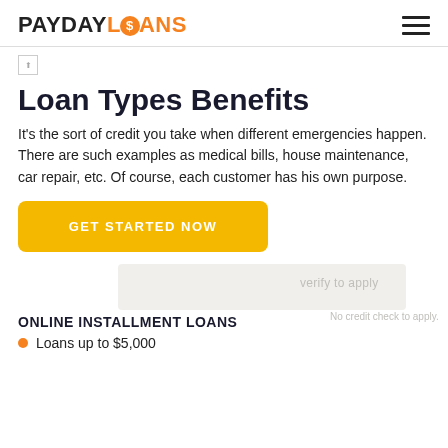PAYDAYLOANS
[Figure (photo): Broken image placeholder in header banner area]
Loan Types Benefits
It's the sort of credit you take when different emergencies happen. There are such examples as medical bills, house maintenance, car repair, etc. Of course, each customer has his own purpose.
GET STARTED NOW
ONLINE INSTALLMENT LOANS
Loans up to $5,000